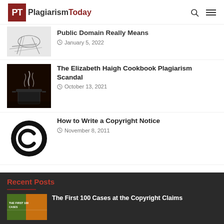PT PlagiarismToday
[Figure (photo): Partial sketch illustration of hands/wood]
Public Domain Really Means
January 5, 2022
[Figure (photo): Steam rising from cooking pot on dark background]
The Elizabeth Haigh Cookbook Plagiarism Scandal
October 13, 2021
[Figure (logo): Large black C copyright symbol on white background]
How to Write a Copyright Notice
November 8, 2011
Recent Posts
[Figure (photo): Book cover with text THE FIRST 100 CASES on green/yellow background]
The First 100 Cases at the Copyright Claims